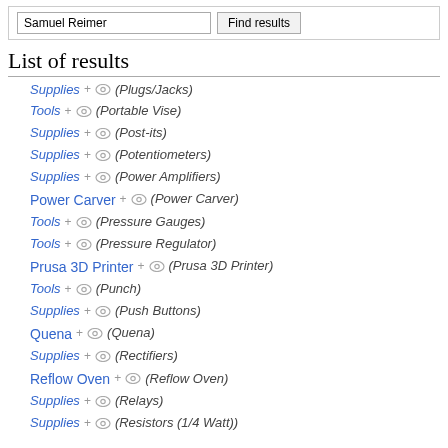Samuel Reimer | Find results
List of results
Supplies + (eye) (Plugs/Jacks)
Tools + (eye) (Portable Vise)
Supplies + (eye) (Post-its)
Supplies + (eye) (Potentiometers)
Supplies + (eye) (Power Amplifiers)
Power Carver + (eye) (Power Carver)
Tools + (eye) (Pressure Gauges)
Tools + (eye) (Pressure Regulator)
Prusa 3D Printer + (eye) (Prusa 3D Printer)
Tools + (eye) (Punch)
Supplies + (eye) (Push Buttons)
Quena + (eye) (Quena)
Supplies + (eye) (Rectifiers)
Reflow Oven + (eye) (Reflow Oven)
Supplies + (eye) (Relays)
Supplies + (eye) (Resistors (1/4 Watt))